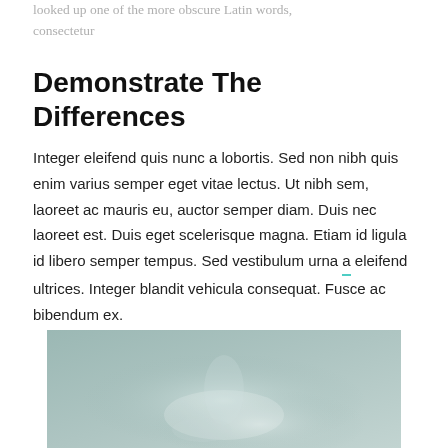looked up one of the more obscure Latin words, consectetur
Demonstrate The Differences
Integer eleifend quis nunc a lobortis. Sed non nibh quis enim varius semper eget vitae lectus. Ut nibh sem, laoreet ac mauris eu, auctor semper diam. Duis nec laoreet est. Duis eget scelerisque magna. Etiam id ligula id libero semper tempus. Sed vestibulum urna a eleifend ultrices. Integer blandit vehicula consequat. Fusce ac bibendum ex.
[Figure (photo): A muted teal/grey background photo with soft blurred elements, possibly a nature or abstract scene.]